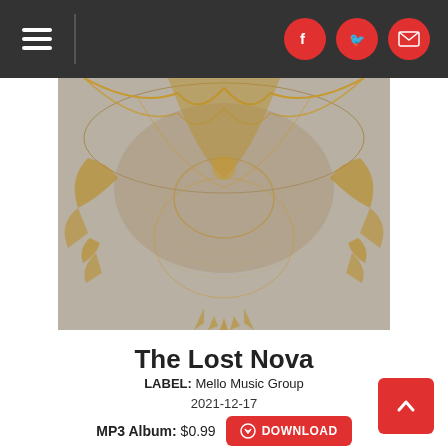[Figure (screenshot): Dark header bar with hamburger menu icon on the left, vertical divider, and three red circular social media icons (Facebook, Twitter, Email) on the right]
[Figure (photo): Top portion of album artwork showing an ornate golden mandala/lace pattern design on a grayish textured background]
The Lost Nova
LABEL: Mello Music Group
2021-12-17
MP3 Album: $0.99  DOWNLOAD
[Figure (photo): Bottom portion of album artwork showing illustrated characters in blue and tan colors with a small crown symbol at top center]